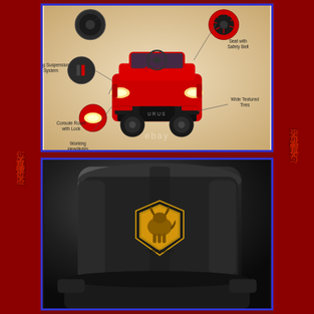[Figure (photo): Red Lamborghini Urus children's ride-on electric car shown from front angle with labeled feature callouts: Spring Suspension System, Seat with Safety Belt, Console Room with Lock, Wide Textured Tires, Working Headlights. eBay watermark visible.]
[Figure (photo): Close-up of black leather car seat headrest with gold Lamborghini bull crest/shield logo embossed on it.]